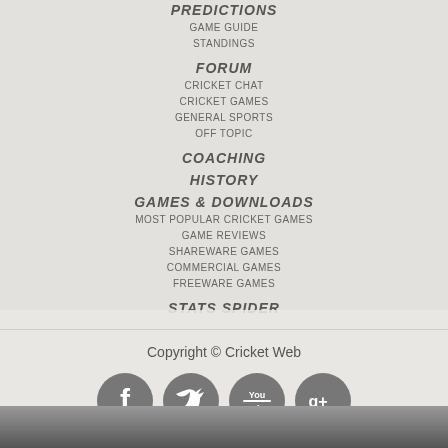PREDICTIONS
GAME GUIDE
STANDINGS
FORUM
CRICKET CHAT
CRICKET GAMES
GENERAL SPORTS
OFF TOPIC
COACHING
HISTORY
GAMES & DOWNLOADS
MOST POPULAR CRICKET GAMES
GAME REVIEWS
SHAREWARE GAMES
COMMERCIAL GAMES
FREEWARE GAMES
STATS SPIDER
Copyright © Cricket Web
[Figure (illustration): Social media icons: Facebook, Twitter, YouTube, Google+]